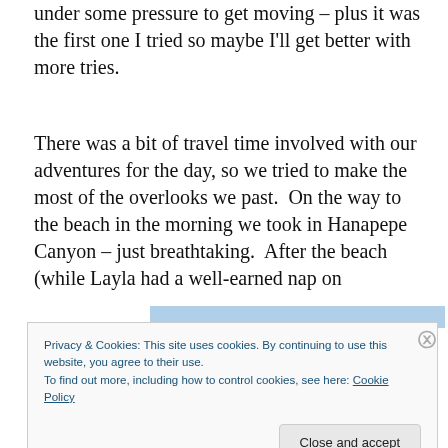under some pressure to get moving – plus it was the first one I tried so maybe I'll get better with more tries.
There was a bit of travel time involved with our adventures for the day, so we tried to make the most of the overlooks we past.  On the way to the beach in the morning we took in Hanapepe Canyon – just breathtaking.  After the beach (while Layla had a well-earned nap on
[Figure (other): Partial image bar visible behind cookie banner, light blue color]
Privacy & Cookies: This site uses cookies. By continuing to use this website, you agree to their use.
To find out more, including how to control cookies, see here: Cookie Policy
Close and accept